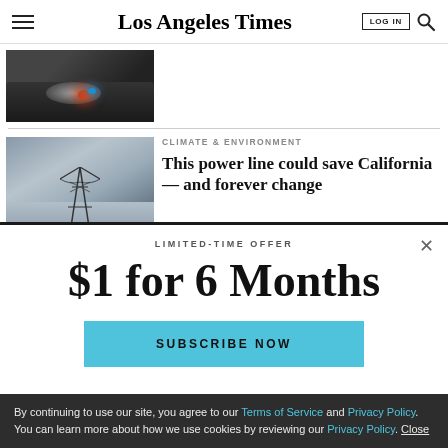Los Angeles Times
[Figure (photo): Car burnout with smoke and red glowing taillights]
[Figure (photo): Power transmission tower against dramatic cloudy sky]
CLIMATE & ENVIRONMENT
This power line could save California — and forever change
LIMITED-TIME OFFER
$1 for 6 Months
SUBSCRIBE NOW
By continuing to use our site, you agree to our Terms of Service and Privacy Policy. You can learn more about how we use cookies by reviewing our Privacy Policy. Close